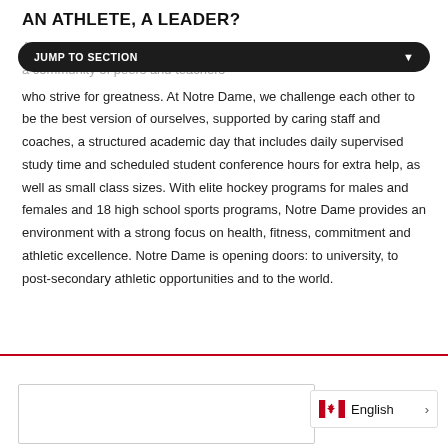AN ATHLETE, A LEADER?
As a Hound, you will be part of a 101 year tradition of excellence and a community of peers and teachers who strive for greatness. At Notre Dame, we challenge each other to be the best version of ourselves, supported by caring staff and coaches, a structured academic day that includes daily supervised study time and scheduled student conference hours for extra help, as well as small class sizes. With elite hockey programs for males and females and 18 high school sports programs, Notre Dame provides an environment with a strong focus on health, fitness, commitment and athletic excellence. Notre Dame is opening doors: to university, to post-secondary athletic opportunities and to the world.